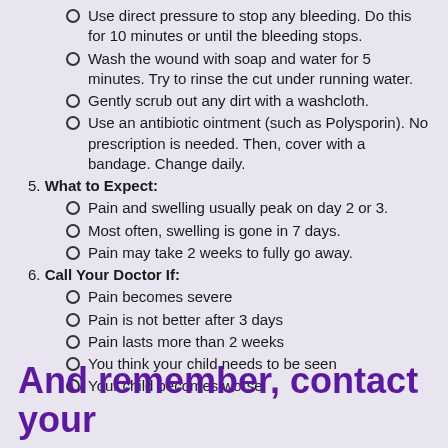Use direct pressure to stop any bleeding. Do this for 10 minutes or until the bleeding stops.
Wash the wound with soap and water for 5 minutes. Try to rinse the cut under running water.
Gently scrub out any dirt with a washcloth.
Use an antibiotic ointment (such as Polysporin). No prescription is needed. Then, cover with a bandage. Change daily.
5. What to Expect:
Pain and swelling usually peak on day 2 or 3.
Most often, swelling is gone in 7 days.
Pain may take 2 weeks to fully go away.
6. Call Your Doctor If:
Pain becomes severe
Pain is not better after 3 days
Pain lasts more than 2 weeks
You think your child needs to be seen
Your child becomes worse
And remember, contact your